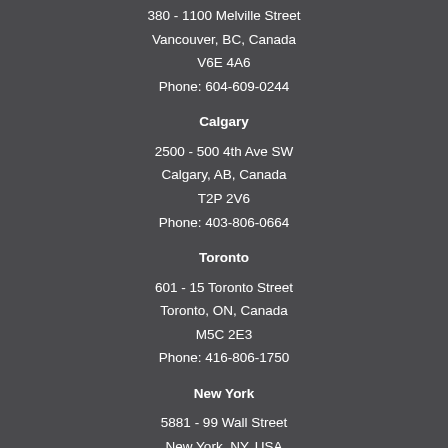380 - 1100 Melville Street
Vancouver, BC, Canada
V6E 4A6
Phone: 604-609-0244
Calgary
2500 - 500 4th Ave SW
Calgary, AB, Canada
T2P 2V6
Phone: 403-806-0664
Toronto
601 - 15 Toronto Street
Toronto, ON, Canada
M5C 2E3
Phone: 416-806-1750
New York
5881 - 99 Wall Street
New York, NY, USA
10005
Phone: 646-609-8767
Terms of Use